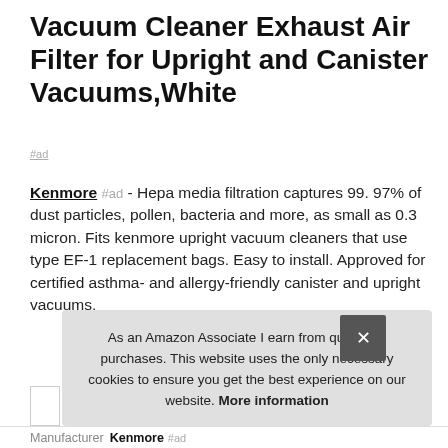Vacuum Cleaner Exhaust Air Filter for Upright and Canister Vacuums,White
#ad
Kenmore #ad - Hepa media filtration captures 99. 97% of dust particles, pollen, bacteria and more, as small as 0.3 micron. Fits kenmore upright vacuum cleaners that use type EF-1 replacement bags. Easy to install. Approved for certified asthma- and allergy-friendly canister and upright vacuums.
As an Amazon Associate I earn from qualifying purchases. This website uses the only necessary cookies to ensure you get the best experience on our website. More information
Manufacturer  Kenmore #ad